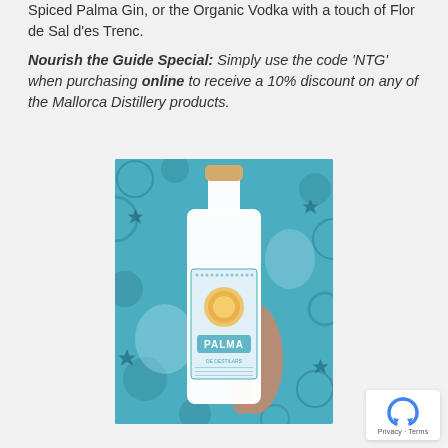Spiced Palma Gin, or the Organic Vodka with a touch of Flor de Sal d'es Trenc.
Nourish the Guide Special: Simply use the code 'NTG' when purchasing online to receive a 10% discount on any of the Mallorca Distillery products.
[Figure (photo): A hand holding a white Palma gin bottle with decorative blue tile-patterned label against a blue and white Moroccan tile background.]
Privacy · Terms